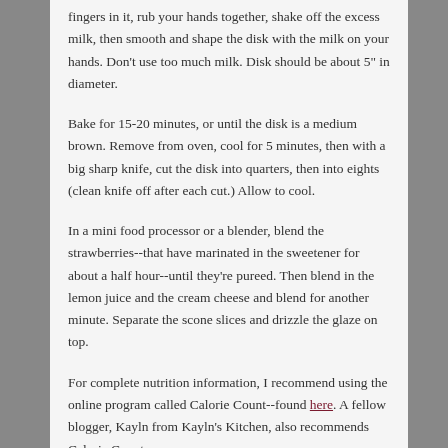fingers in it, rub your hands together, shake off the excess milk, then smooth and shape the disk with the milk on your hands.  Don't use too much milk.  Disk should be about 5" in diameter.
Bake for 15-20 minutes, or until the disk is a medium brown.  Remove from oven, cool for 5 minutes, then with a big sharp knife, cut the disk into quarters, then into eights (clean knife off after each cut.)  Allow to cool.
In a mini food processor or a blender, blend the strawberries--that have marinated in the sweetener for about a half hour--until they're pureed.  Then blend in the lemon juice and the cream cheese and blend for another minute.  Separate the scone slices and drizzle the glaze on top.
For complete nutrition information, I recommend using the online program called Calorie Count--found here.  A fellow blogger, Kayln from Kayln's Kitchen, also recommends Calorie Count on